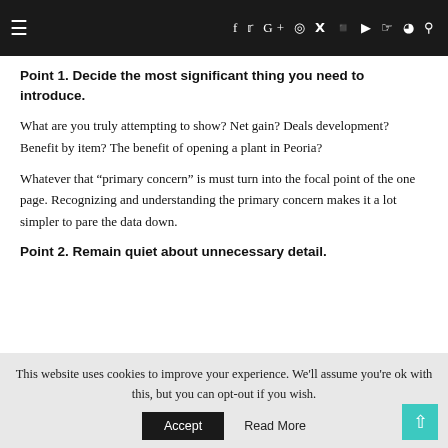≡  f  𝕏  G+  ⊙  𝒫  ⬡  ▶  👻  ⌁  🔍
Point 1. Decide the most significant thing you need to introduce.
What are you truly attempting to show? Net gain? Deals development? Benefit by item? The benefit of opening a plant in Peoria?
Whatever that "primary concern" is must turn into the focal point of the one page. Recognizing and understanding the primary concern makes it a lot simpler to pare the data down.
Point 2. Remain quiet about unnecessary detail.
This website uses cookies to improve your experience. We'll assume you're ok with this, but you can opt-out if you wish.